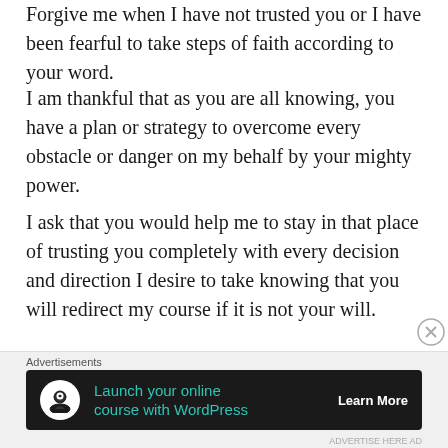Forgive me when I have not trusted you or I have been fearful to take steps of faith according to your word.
I am thankful that as you are all knowing, you have a plan or strategy to overcome every obstacle or danger on my behalf by your mighty power.
I ask that you would help me to stay in that place of trusting you completely with every decision and direction I desire to take knowing that you will redirect my course if it is not your will.
In Jesus’ Name, Amen.
You are blessed, determine to stay blessed.
[Figure (infographic): Advertisement banner: 'Launch your online course with WordPress' with Learn More button, dark background with teal text and circular logo icon]
Advertisements